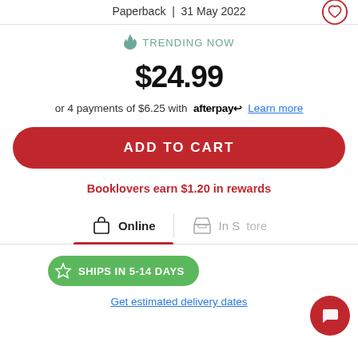Paperback | 31 May 2022
TRENDING NOW
$24.99
or 4 payments of $6.25 with afterpay Learn more
ADD TO CART
Booklovers earn $1.20 in rewards
Online
In S LIVE Chat
SHIPS IN 5-14 DAYS
Get estimated delivery dates